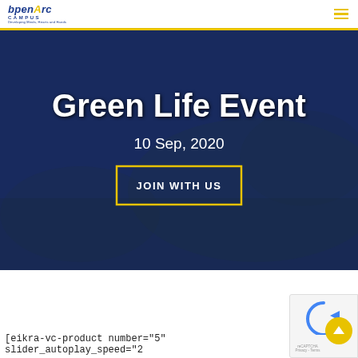OpenArc CAMPUS – Developing Minds, Hearts and Hands
[Figure (screenshot): Hero banner with dark blue overlay on outdoor/campus background showing 'Green Life Event' title, date '10 Sep, 2020', and a 'JOIN WITH US' button with yellow border]
Green Life Event
10 Sep, 2020
JOIN WITH US
[eikra-vc-product number="5" slider_autoplay_speed="2
[Figure (other): reCAPTCHA badge with blue arrows icon and yellow upload/scroll button]